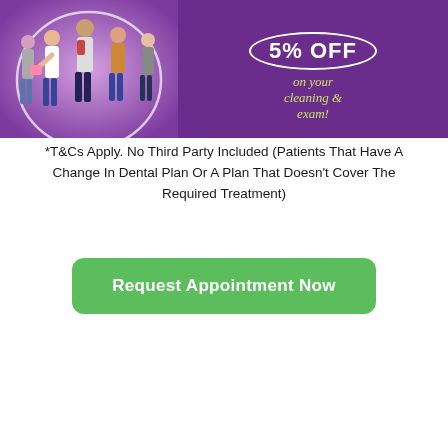[Figure (illustration): Purple banner with group of young people on the left and '5% OFF on your cleaning & exam!' text on the right with a white oval border around the discount.]
*T&Cs Apply. No Third Party Included (Patients That Have A Change In Dental Plan Or A Plan That Doesn't Cover The Required Treatment)
Request Appointment Now